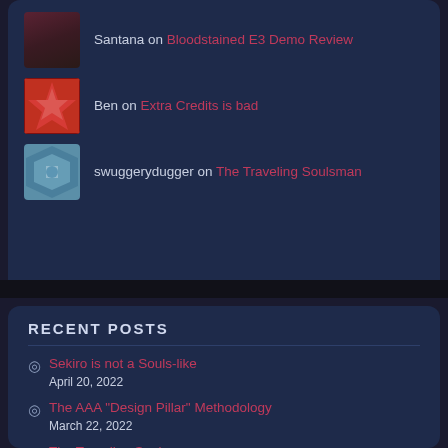Santana on Bloodstained E3 Demo Review
Ben on Extra Credits is bad
swuggerydugger on The Traveling Soulsman
RECENT POSTS
Sekiro is not a Souls-like — April 20, 2022
The AAA “Design Pillar” Methodology — March 22, 2022
The Traveling Soulsman — March 13, 2022